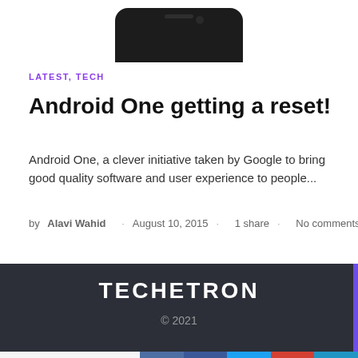[Figure (photo): Bottom portion of a smartphone device, dark colored, shown from above on white background]
LATEST, TECH
Android One getting a reset!
Android One, a clever initiative taken by Google to bring good quality software and user experience to people...
by Alavi Wahid · August 10, 2015 · 1 share · No comments
TECHETRON © 2021
0 Shares